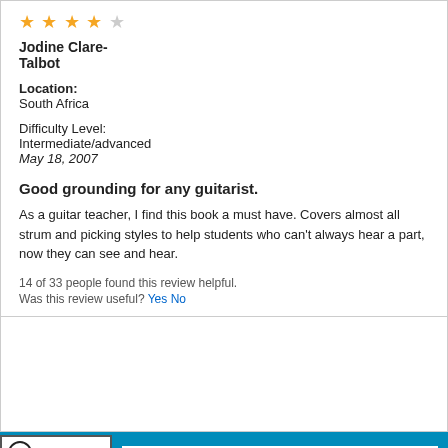[Figure (other): 4 out of 5 star rating (4 filled orange stars, 1 empty/gray star)]
Jodine Clare-Talbot
Location:
South Africa
Difficulty Level:
Intermediate/advanced
May 18, 2007
Good grounding for any guitarist.
As a guitar teacher, I find this book a must have. Covers almost all strum and picking styles to help students who can't always hear a part, now they can see and hear.
14 of 33 people found this review helpful.
Was this review useful? Yes No
[Figure (screenshot): Norton Shopping Guarantee badge with verifying... text, and a blue search bar with search icon]